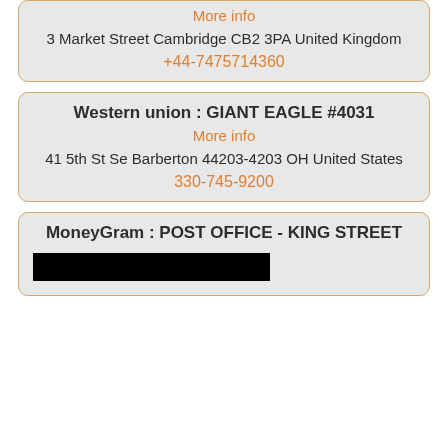More info
3 Market Street Cambridge CB2 3PA United Kingdom
+44-7475714360
Western union : GIANT EAGLE #4031
More info
41 5th St Se Barberton 44203-4203 OH United States
330-745-9200
MoneyGram : POST OFFICE - KING STREET
[Figure (other): Black redacted bar covering part of content]